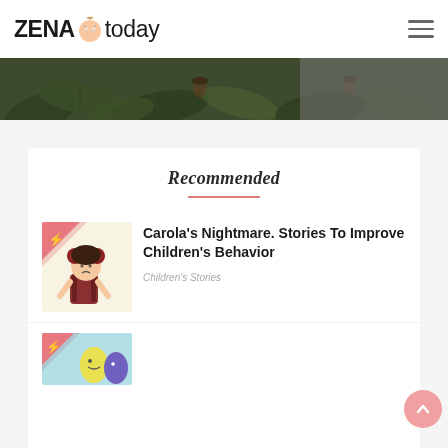ZENA today
[Figure (photo): Dark green tropical/forest themed banner image with leaves and wood texture pattern]
Recommended
[Figure (illustration): Children's book illustration showing a cartoon girl character with red buns/horns hairstyle on pink and cream background with lightning bolt symbol]
Carola's Nightmare. Stories To Improve Children's Behavior
Children's Stories
[Figure (illustration): Partial children's book illustration visible at bottom, colorful characters on blue/teal background]